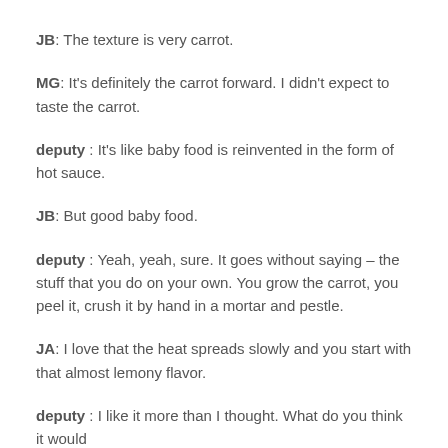JB: The texture is very carrot.
MG: It's definitely the carrot forward. I didn't expect to taste the carrot.
deputy : It's like baby food is reinvented in the form of hot sauce.
JB: But good baby food.
deputy : Yeah, yeah, sure. It goes without saying – the stuff that you do on your own. You grow the carrot, you peel it, crush it by hand in a mortar and pestle.
JA: I love that the heat spreads slowly and you start with that almost lemony flavor.
deputy : I like it more than I thought. What do you think it would